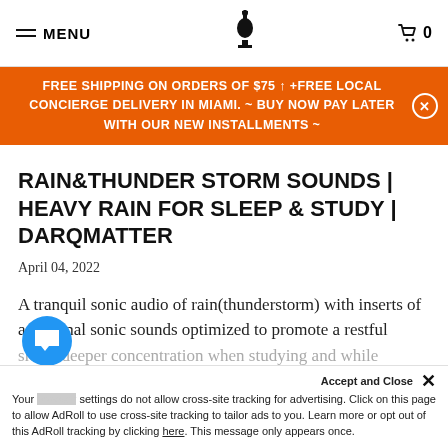MENU | [logo] | 0
FREE SHIPPING ON ORDERS OF $75 ↑ +FREE LOCAL CONCIERGE DELIVERY IN MIAMI. ~ BUY NOW PAY LATER WITH OUR NEW INSTALLMENTS ~
RAIN&THUNDER STORM SOUNDS | HEAVY RAIN FOR SLEEP & STUDY | DARQMATTER
April 04, 2022
A tranquil sonic audio of rain(thunderstorm) with inserts of additional sonic sounds optimized to promote a restful sleep, deeper concentration when studying and while meditating.
Accept and Close
Your browser settings do not allow cross-site tracking for advertising. Click on this page to allow AdRoll to use cross-site tracking to tailor ads to you. Learn more or opt out of this AdRoll tracking by clicking here. This message only appears once.